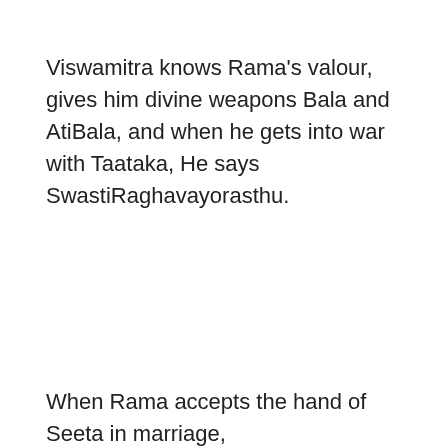Viswamitra knows Rama's valour, gives him divine weapons Bala and AtiBala, and when he gets into war with Taataka, He says SwastiRaghavayorasthu.
When Rama accepts the hand of Seeta in marriage,